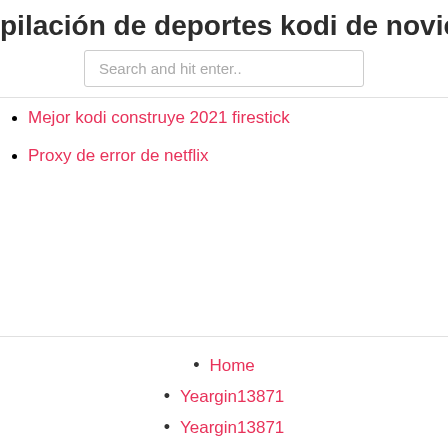pilación de deportes kodi de noviemb
Search and hit enter..
Mejor kodi construye 2021 firestick
Proxy de error de netflix
Home
Yeargin13871
Yeargin13871